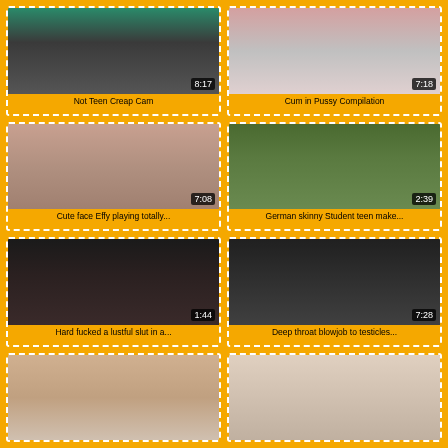[Figure (photo): Video thumbnail - street scene]
Not Teen Creap Cam
[Figure (photo): Video thumbnail - close up]
Cum in Pussy Compilation
[Figure (photo): Video thumbnail - indoor]
Cute face Effy playing totally...
[Figure (photo): Video thumbnail - outdoor]
German skinny Student teen make...
[Figure (photo): Video thumbnail - animation]
Hard fucked a lustful slut in a...
[Figure (photo): Video thumbnail - closeup]
Deep throat blowjob to testicles...
[Figure (photo): Video thumbnail - partial]
[Figure (photo): Video thumbnail - partial]